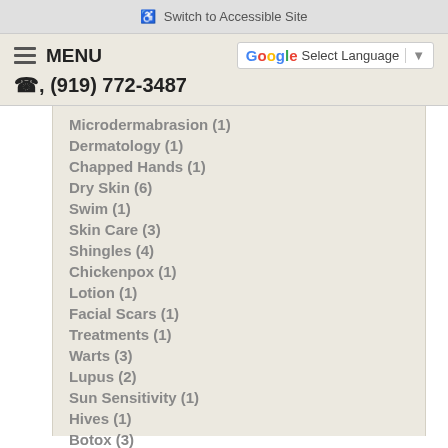♿ Switch to Accessible Site
≡ MENU   G Select Language ▼   ☎ (919) 772-3487
Microdermabrasion (1)
Dermatology (1)
Chapped Hands (1)
Dry Skin (6)
Swim (1)
Skin Care (3)
Shingles (4)
Chickenpox (1)
Lotion (1)
Facial Scars (1)
Treatments (1)
Warts (3)
Lupus (2)
Sun Sensitivity (1)
Hives (1)
Botox (3)